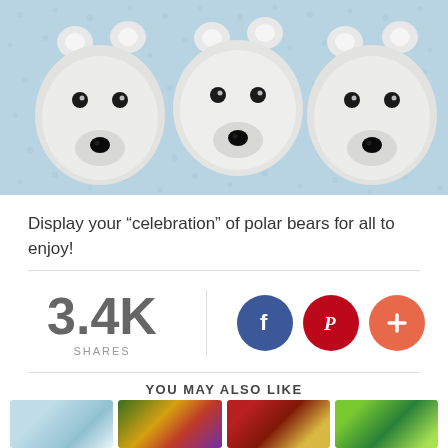[Figure (photo): Three polar bear cupcakes with white frosting, black candy eyes and noses, and white ear pieces, arranged on a light blue polka-dot background]
Display your “celebration” of polar bears for all to enjoy!
3.4K SHARES
[Figure (infographic): Social sharing buttons: Facebook (blue circle with f), Pinterest (red circle with P), and a red-orange plus button]
YOU MAY ALSO LIKE
[Figure (photo): Four thumbnail images of related content below the YOU MAY ALSO LIKE heading]